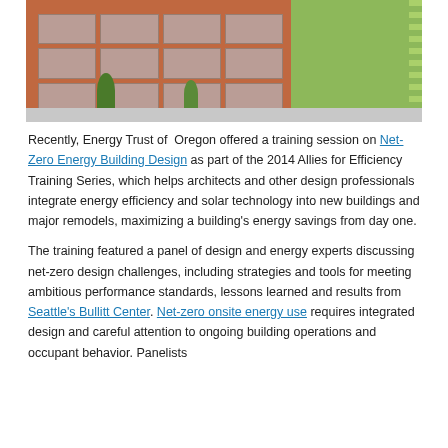[Figure (photo): Exterior photo of a multi-story building with reddish-brown facade on the left and a bright green wall on the right, trees visible at ground level.]
Recently, Energy Trust of Oregon offered a training session on Net-Zero Energy Building Design as part of the 2014 Allies for Efficiency Training Series, which helps architects and other design professionals integrate energy efficiency and solar technology into new buildings and major remodels, maximizing a building's energy savings from day one.
The training featured a panel of design and energy experts discussing net-zero design challenges, including strategies and tools for meeting ambitious performance standards, lessons learned and results from Seattle's Bullitt Center. Net-zero onsite energy use requires integrated design and careful attention to ongoing building operations and occupant behavior. Panelists